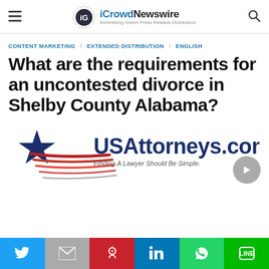iCrowdNewswire — Advertising Driven Press Release Distribution
CONTENT MARKETING / EXTENDED DISTRIBUTION / ENGLISH
What are the requirements for an uncontested divorce in Shelby County Alabama?
[Figure (logo): USAttorneys.com logo with star and red stripes, tagline: Finding A Lawyer Should Be Simple]
Social share bar: Twitter, Gmail, Pinterest, LinkedIn, WhatsApp, Line